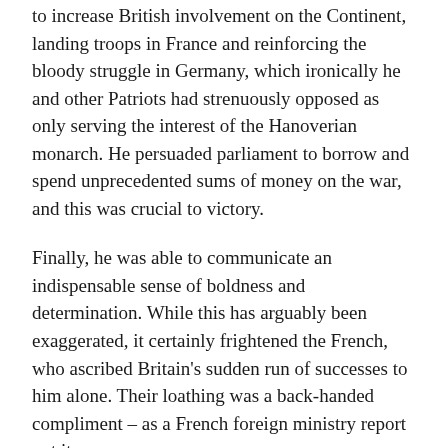to increase British involvement on the Continent, landing troops in France and reinforcing the bloody struggle in Germany, which ironically he and other Patriots had strenuously opposed as only serving the interest of the Hanoverian monarch. He persuaded parliament to borrow and spend unprecedented sums of money on the war, and this was crucial to victory.
Finally, he was able to communicate an indispensable sense of boldness and determination. While this has arguably been exaggerated, it certainly frightened the French, who ascribed Britain's sudden run of successes to him alone. Their loathing was a back-handed compliment – as a French foreign ministry report put it:
His ambition is not wealth, for he despises it, and is